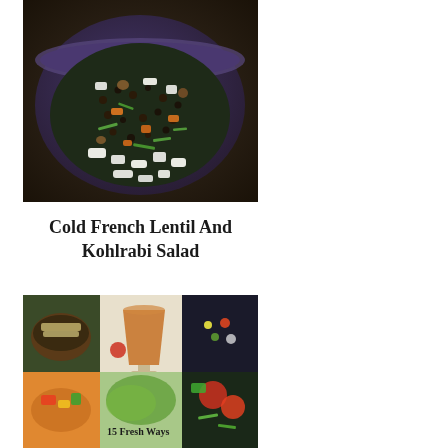[Figure (photo): Close-up photo of a lentil and kohlrabi salad in a dark blue ceramic bowl, topped with crumbled white feta cheese, green onions, orange carrots, and dark lentils]
Cold French Lentil And Kohlrabi Salad
[Figure (photo): A collage of food photos showing stuffed mushrooms, a smoothie in a glass, a topped pizza or bruschetta, colorful salad bowls, and text reading '15 Fresh Ways']